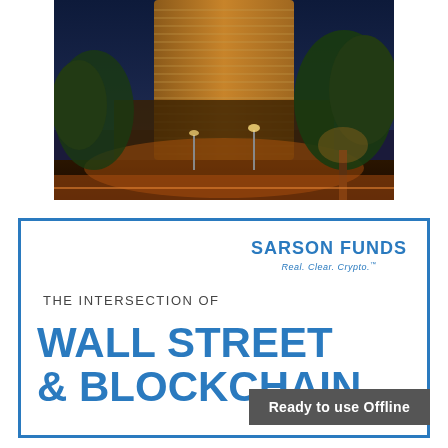[Figure (photo): Nighttime photo of a tall curved glass hotel/casino tower building illuminated in gold, with lush trees in the foreground lit by warm landscape lighting. Street visible at bottom.]
[Figure (logo): Sarson Funds logo with text 'SARSON FUNDS' in bold blue and tagline 'Real. Clear. Crypto.' in italic blue below]
THE INTERSECTION OF
WALL STREET & BLOCKCHAIN
Ready to use Offline